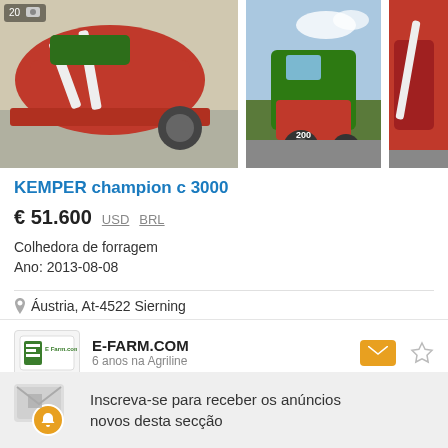[Figure (photo): Three photos of a red KEMPER champion c 3000 forage harvester attachment. Left image is the largest showing the red machine on a paved surface with a badge showing '20' and a camera icon. Middle image shows a green harvester in a field. Right image is a partial view of the red machine.]
KEMPER champion c 3000
€ 51.600   USD   BRL
Colhedora de forragem
Ano: 2013-08-08
Áustria, At-4522 Sierning
E-FARM.COM
6 anos na Agriline
Inscreva-se para receber os anúncios novos desta secção